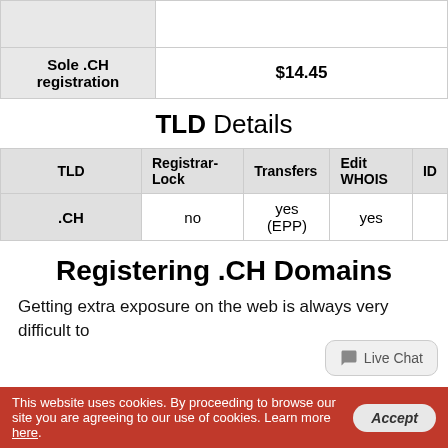|  |  |
| --- | --- |
| Sole .CH registration | $14.45 |
TLD Details
| TLD | Registrar-Lock | Transfers | Edit WHOIS | ID |
| --- | --- | --- | --- | --- |
| .CH | no | yes (EPP) | yes |  |
Registering .CH Domains
Getting extra exposure on the web is always very difficult to
This website uses cookies. By proceeding to browse our site you are agreeing to our use of cookies. Learn more here.